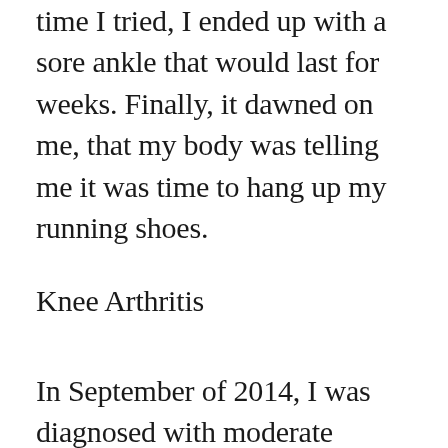time I tried, I ended up with a sore ankle that would last for weeks. Finally, it dawned on me, that my body was telling me it was time to hang up my running shoes.
Knee Arthritis
In September of 2014, I was diagnosed with moderate arthritis